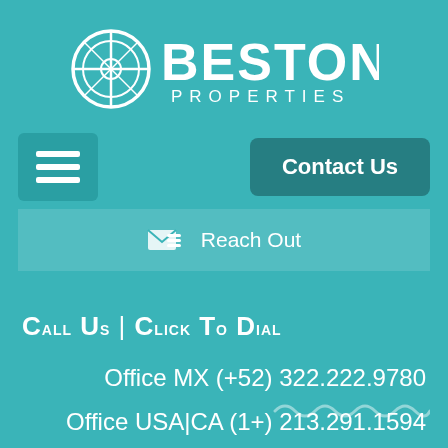[Figure (logo): Beston Properties logo: circular compass-like icon on the left, with BESTON in large bold text and PROPERTIES in smaller spaced text beneath, all in white]
[Figure (other): Navigation bar with hamburger menu icon on the left and a 'Contact Us' button on the right]
[Figure (other): Reach Out bar with envelope icon and 'Reach Out' text]
Call Us | Click To Dial
Office MX (+52) 322.222.9780
Office USA|CA (1+) 213.291.1594